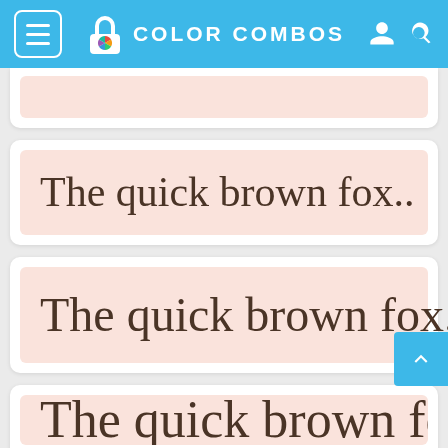COLOR COMBOS
[Figure (screenshot): Color Combos website showing font previews with 'The quick brown fox..' text displayed in script/cursive font on pink backgrounds, repeated in multiple card rows]
The quick brown fox..
The quick brown fox..